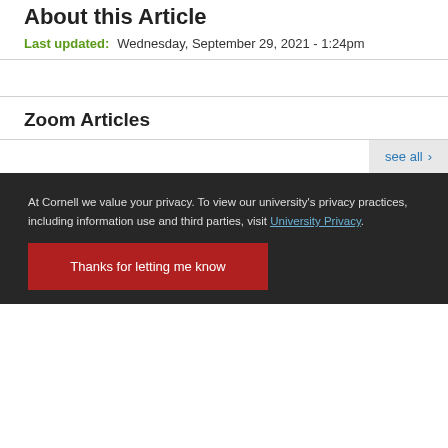About this Article
Last updated: Wednesday, September 29, 2021 - 1:24pm
Zoom Articles
see all ›
At Cornell we value your privacy. To view our university's privacy practices, including information use and third parties, visit University Privacy.
Thanks for letting me know